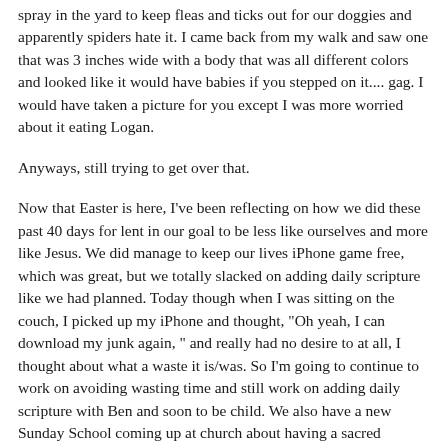spray in the yard to keep fleas and ticks out for our doggies and apparently spiders hate it. I came back from my walk and saw one that was 3 inches wide with a body that was all different colors and looked like it would have babies if you stepped on it.... gag. I would have taken a picture for you except I was more worried about it eating Logan.
Anyways, still trying to get over that.
Now that Easter is here, I've been reflecting on how we did these past 40 days for lent in our goal to be less like ourselves and more like Jesus. We did manage to keep our lives iPhone game free, which was great, but we totally slacked on adding daily scripture like we had planned. Today though when I was sitting on the couch, I picked up my iPhone and thought, "Oh yeah, I can download my junk again, " and really had no desire to at all, I thought about what a waste it is/was. So I'm going to continue to work on avoiding wasting time and still work on adding daily scripture with Ben and soon to be child. We also have a new Sunday School coming up at church about having a sacred marriage and I am thinking that we will try that. We have never been